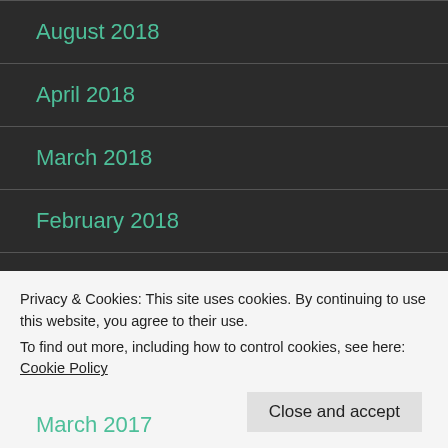August 2018
April 2018
March 2018
February 2018
January 2018
September 2017
March 2017
Privacy & Cookies: This site uses cookies. By continuing to use this website, you agree to their use.
To find out more, including how to control cookies, see here: Cookie Policy